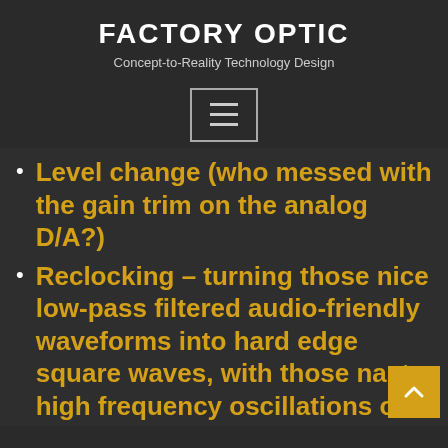FACTORY OPTIC
Concept-to-Reality Technology Design
[Figure (other): Navigation menu toggle button with three horizontal lines (hamburger icon)]
Level change (who messed with the gain trim on the analog D/A?)
Reclocking – turning those nice low-pass filtered audio-friendly waveforms into hard edge square waves, with those nasty high frequency oscillations on the sharp